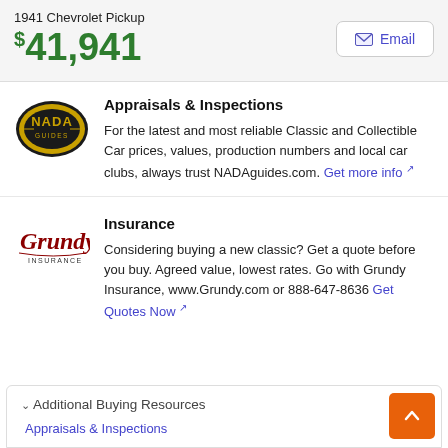1941 Chevrolet Pickup
$41,941
Email
Appraisals & Inspections
For the latest and most reliable Classic and Collectible Car prices, values, production numbers and local car clubs, always trust NADAguides.com. Get more info
Insurance
Considering buying a new classic? Get a quote before you buy. Agreed value, lowest rates. Go with Grundy Insurance, www.Grundy.com or 888-647-8636 Get Quotes Now
Additional Buying Resources
Appraisals & Inspections